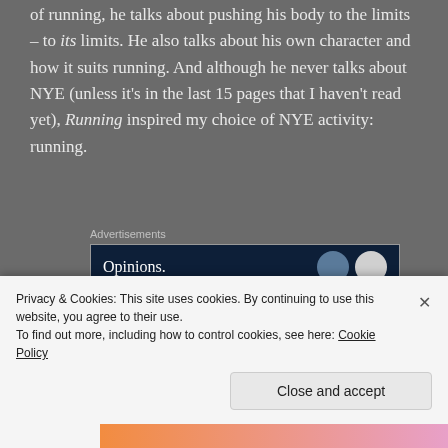of running, he talks about pushing his body to the limits – to its limits. He also talks about his own character and how it suits running. And although he never talks about NYE (unless it's in the last 15 pages that I haven't read yet), Running inspired my choice of NYE activity: running.
Advertisements
[Figure (other): Advertisement banner showing 'Opinions.' text on dark navy background with two circular icons]
Pretty much the only thing I deadset wanted to do for NYE was go for a run. In effect, reading about Murakami
Privacy & Cookies: This site uses cookies. By continuing to use this website, you agree to their use.
To find out more, including how to control cookies, see here: Cookie Policy
Close and accept